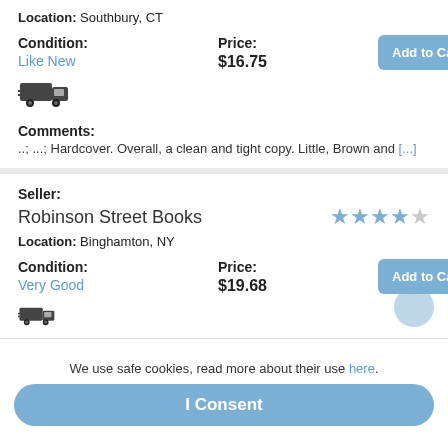Location: Southbury, CT
Condition: Like New
Price: $16.75
Add to Cart
[Figure (illustration): Truck delivery icon]
Comments: ..; ...; Hardcover. Overall, a clean and tight copy. Little, Brown and [...]
Seller: Robinson Street Books
Location: Binghamton, NY
Condition: Very Good
Price: $19.68
Add to Cart
We use safe cookies, read more about their use here.
I Consent